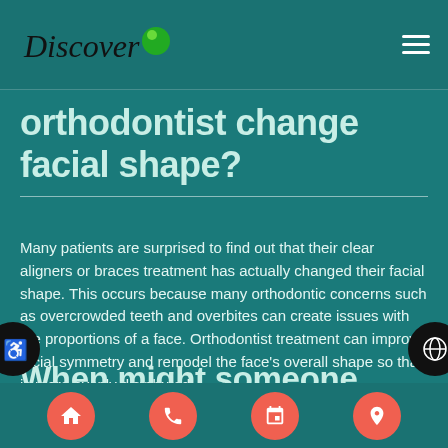Discover [logo]
orthodontist change facial shape?
Many patients are surprised to find out that their clear aligners or braces treatment has actually changed their facial shape. This occurs because many orthodontic concerns such as overcrowded teeth and overbites can create issues with the proportions of a face. Orthodontist treatment can improve facial symmetry and remodel the face's overall shape so that is more evenly distributed.
When might someone consider facial shape change from an
Navigation icons: home, phone, calendar, location